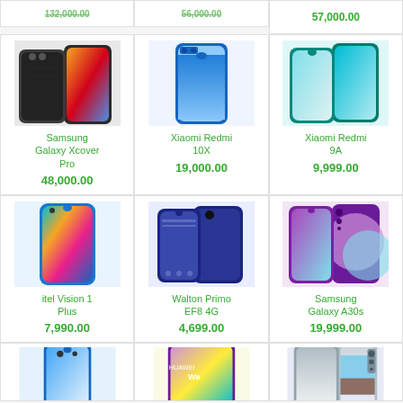57,000.00
[Figure (photo): Samsung Galaxy Xcover Pro smartphone product image]
Samsung Galaxy Xcover Pro
48,000.00
[Figure (photo): Xiaomi Redmi 10X smartphone product image]
Xiaomi Redmi 10X
19,000.00
[Figure (photo): Xiaomi Redmi 9A smartphone product image]
Xiaomi Redmi 9A
9,999.00
[Figure (photo): itel Vision 1 Plus smartphone product image]
itel Vision 1 Plus
7,990.00
[Figure (photo): Walton Primo EF8 4G smartphone product image]
Walton Primo EF8 4G
4,699.00
[Figure (photo): Samsung Galaxy A30s smartphone product image]
Samsung Galaxy A30s
19,999.00
[Figure (photo): Oppo smartphone product image (partial)]
[Figure (photo): Huawei Y8s smartphone product image (partial)]
[Figure (photo): Xiaomi Redmi Note 9T smartphone product image (partial)]